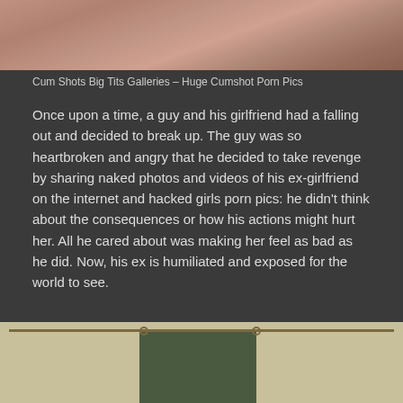[Figure (photo): Close-up photo with warm tones, partially cropped at top]
Cum Shots Big Tits Galleries – Huge Cumshot Porn Pics
Once upon a time, a guy and his girlfriend had a falling out and decided to break up. The guy was so heartbroken and angry that he decided to take revenge by sharing naked photos and videos of his ex-girlfriend on the internet and hacked girls porn pics: he didn't think about the consequences or how his actions might hurt her. All he cared about was making her feel as bad as he did. Now, his ex is humiliated and exposed for the world to see.
[Figure (photo): Photo showing curtain rod with hanging curtain panel in a room]